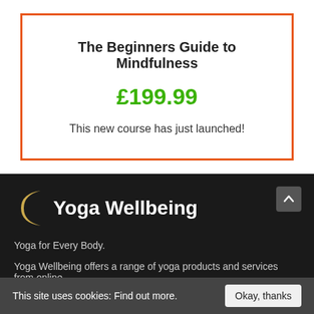The Beginners Guide to Mindfulness
£199.99
This new course has just launched!
[Figure (logo): Yoga Wellbeing logo with crescent moon icon and bold white text on dark background]
Yoga for Every Body.
Yoga Wellbeing offers a range of yoga products and services from online
This site uses cookies: Find out more.
Okay, thanks